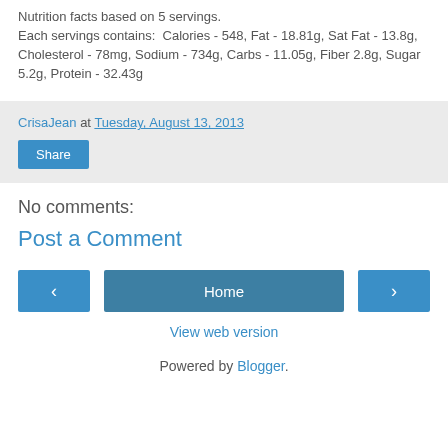Nutrition facts based on 5 servings. Each servings contains:  Calories - 548, Fat - 18.81g, Sat Fat - 13.8g, Cholesterol - 78mg, Sodium - 734g, Carbs - 11.05g, Fiber 2.8g, Sugar 5.2g, Protein - 32.43g
CrisaJean at Tuesday, August 13, 2013
Share
No comments:
Post a Comment
‹
Home
›
View web version
Powered by Blogger.